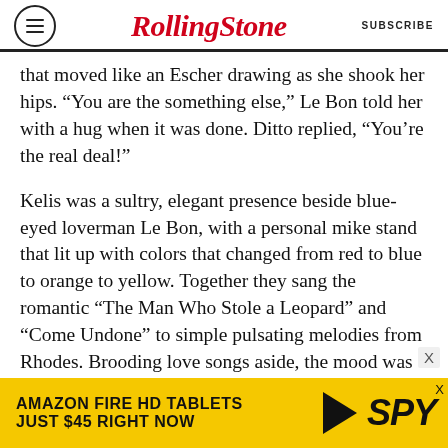Rolling Stone | SUBSCRIBE
that moved like an Escher drawing as she shook her hips. “You are the something else,” Le Bon told her with a hug when it was done. Ditto replied, “You’re the real deal!”
Kelis was a sultry, elegant presence beside blue-eyed loverman Le Bon, with a personal mike stand that lit up with colors that changed from red to blue to orange to yellow. Together they sang the romantic “The Man Who Stole a Leopard” and “Come Undone” to simple pulsating melodies from Rhodes. Brooding love songs aside, the mood was mostly celebratory, and late in the set, Le Bon even attempted a joke to fill time during a
[Figure (other): Amazon Fire HD Tablets advertisement banner: 'AMAZON FIRE HD TABLETS JUST $45 RIGHT NOW' on yellow background with SPY logo]